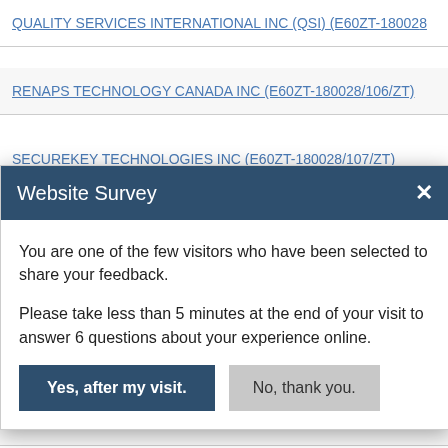QUALITY SERVICES INTERNATIONAL INC (QSI) (E60ZT-180028/...
RENAPS TECHNOLOGY CANADA INC (E60ZT-180028/106/ZT)
SECUREKEY TECHNOLOGIES INC (E60ZT-180028/107/ZT)
Website Survey
You are one of the few visitors who have been selected to share your feedback.
Please take less than 5 minutes at the end of your visit to answer 6 questions about your experience online.
Yes, after my visit.   No, thank you.
IPSOS LTD PARTNERSHIP (E60ZT-180028/115/ZT)